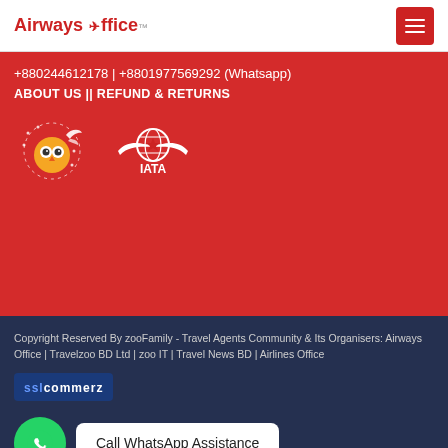Airways Office
+880244612178 | +8801977569292 (Whatsapp)
ABOUT US || REFUND & RETURNS
[Figure (logo): Travel agency mascot logo and IATA logo with wings]
Copyright Reserved By zooFamily - Travel Agents Community & Its Organisers: Airways Office | Travelzoo BD Ltd | zoo IT | Travel News BD | Airlines Office
[Figure (logo): SSLCommerz payment badge]
Call WhatsApp Assistance